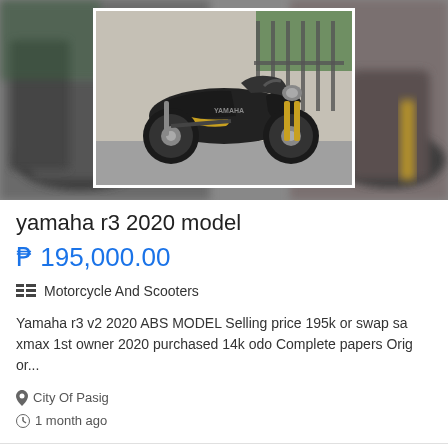[Figure (photo): Photo of a black Yamaha R3 2020 motorcycle. A blurred background image shows another motorcycle on the sides. The center shows a clear photo of a black Yamaha sport bike (R3) parked in what appears to be a driveway or street, framed with a white border.]
yamaha r3 2020 model
₱ 195,000.00
Motorcycle And Scooters
Yamaha r3 v2 2020 ABS MODEL Selling price 195k or swap sa xmax 1st owner 2020 purchased 14k odo Complete papers Orig or...
City Of Pasig
1 month ago
1 2 3 next